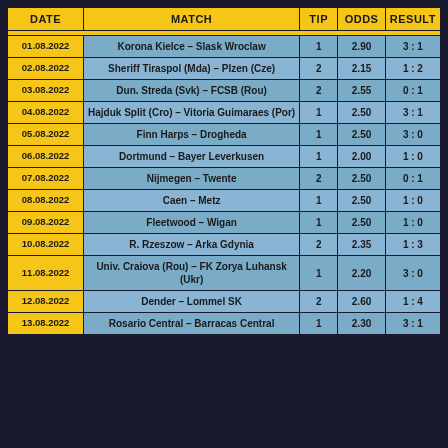| DATE | MATCH | TIP | ODDS | RESULT |
| --- | --- | --- | --- | --- |
| 01.08.2022 | Korona Kielce – Slask Wroclaw | 1 | 2.90 | 3 : 1 |
| 02.08.2022 | Sheriff Tiraspol (Mda) – Plzen (Cze) | 2 | 2.15 | 1 : 2 |
| 03.08.2022 | Dun. Streda (Svk) – FCSB (Rou) | 2 | 2.55 | 0 : 1 |
| 04.08.2022 | Hajduk Split (Cro) – Vitoria Guimaraes (Por) | 1 | 2.50 | 3 : 1 |
| 05.08.2022 | Finn Harps – Drogheda | 1 | 2.50 | 3 : 0 |
| 06.08.2022 | Dortmund – Bayer Leverkusen | 1 | 2.00 | 1 : 0 |
| 07.08.2022 | Nijmegen – Twente | 2 | 2.50 | 0 : 1 |
| 08.08.2022 | Caen – Metz | 1 | 2.50 | 1 : 0 |
| 09.08.2022 | Fleetwood – Wigan | 1 | 2.50 | 1 : 0 |
| 10.08.2022 | R. Rzeszow – Arka Gdynia | 2 | 2.35 | 1 : 3 |
| 11.08.2022 | Univ. Craiova (Rou) – FK Zorya Luhansk (Ukr) | 1 | 2.20 | 3 : 0 |
| 12.08.2022 | Dender – Lommel SK | 2 | 2.60 | 1 : 4 |
| 13.08.2022 | Rosario Central – Barracas Central | 1 | 2.30 | 3 : 1 |